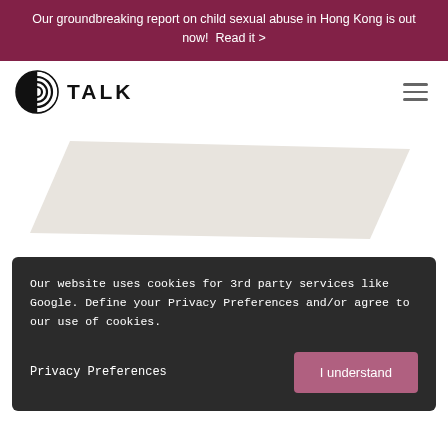Our groundbreaking report on child sexual abuse in Hong Kong is out now!  Read it >
[Figure (logo): TALK organization logo with circular half-black half-striped graphic and bold text TALK]
[Figure (illustration): A light beige/cream colored tilted parallelogram/rectangle shape on white background, representing a decorative hero image placeholder]
Our website uses cookies for 3rd party services like Google. Define your Privacy Preferences and/or agree to our use of cookies.
Privacy Preferences
I understand